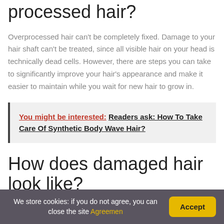processed hair?
Overprocessed hair can't be completely fixed. Damage to your hair shaft can't be treated, since all visible hair on your head is technically dead cells. However, there are steps you can take to significantly improve your hair's appearance and make it easier to maintain while you wait for new hair to grow in.
You might be interested:  Readers ask: How To Take Care Of Synthetic Body Wave Hair?
How does damaged hair look like?
We store cookies: if you do not agree, you can close the site Agreemen